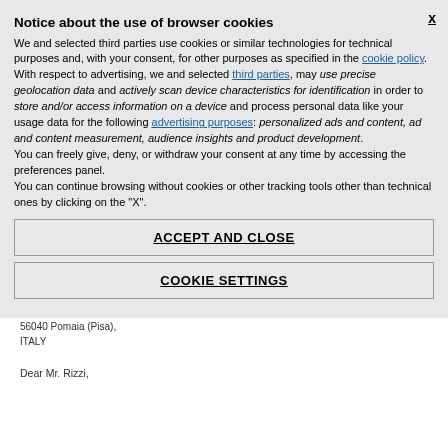Notice about the use of browser cookies
We and selected third parties use cookies or similar technologies for technical purposes and, with your consent, for other purposes as specified in the cookie policy. With respect to advertising, we and selected third parties, may use precise geolocation data and actively scan device characteristics for identification in order to store and/or access information on a device and process personal data like your usage data for the following advertising purposes: personalized ads and content, ad and content measurement, audience insights and product development. You can freely give, deny, or withdraw your consent at any time by accessing the preferences panel. You can continue browsing without cookies or other tracking tools other than technical ones by clicking on the "X".
ACCEPT AND CLOSE
COOKIE SETTINGS
Istituto Lama Tsong Khapa
56040 Pomaia (Pisa),
ITALY
Dear Mr. Rizzi,